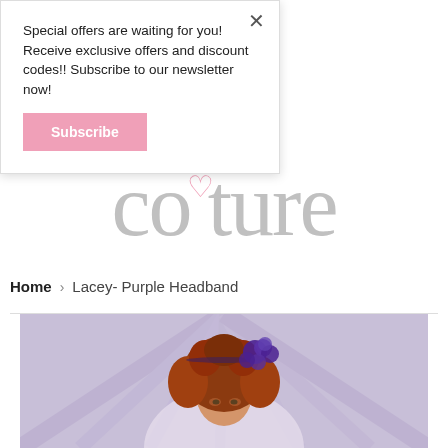Special offers are waiting for you! Receive exclusive offers and discount codes!! Subscribe to our newsletter now!
Subscribe
[Figure (logo): Couture brand logo in large grey serif text with a small pink heart accent above the letter 'u']
Home > Lacey- Purple Headband
[Figure (photo): A young child with curly red hair wearing a purple flower headband, dressed in a lavender tutu, photographed from above against a soft purple background]